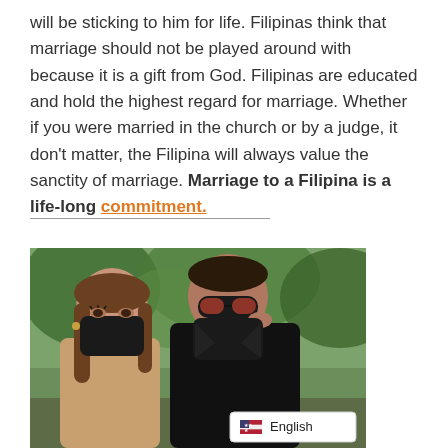will be sticking to him for life. Filipinas think that marriage should not be played around with because it is a gift from God. Filipinas are educated and hold the highest regard for marriage. Whether if you were married in the church or by a judge, it don't matter, the Filipina will always value the sanctity of marriage. Marriage to a Filipina is a life-long commitment.
[Figure (photo): A couple wearing black face masks outdoors in front of trees. The woman on the left wears a tan/beige coat and has long brown hair. The man on the right wears a black jacket and red-tinted sunglasses which he is adjusting. A language selector badge showing 'English' with a US flag is overlaid at the bottom right of the image.]